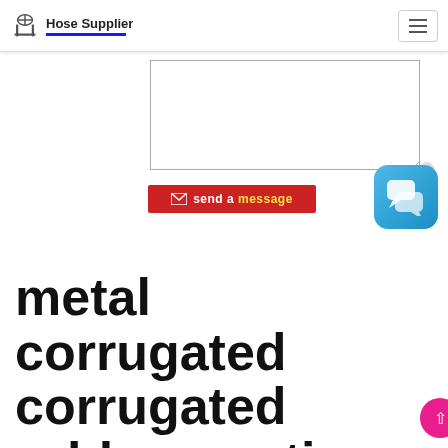Hose Supplier
[Figure (screenshot): Textarea input box for message]
[Figure (screenshot): Red send a message button with envelope icon]
[Figure (screenshot): Blue chat widget icon with X close button]
metal corrugated corrugated rubber suction hose